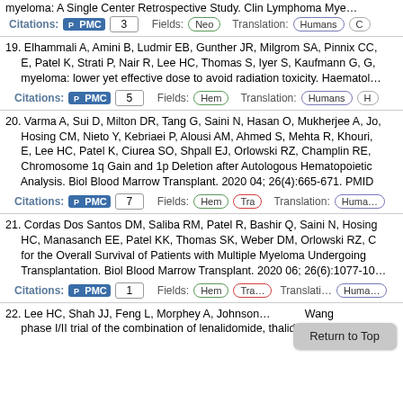myeloma: A Single Center Retrospective Study. Clin Lymphoma Mye…
Citations: PMC 3   Fields: Neo   Translation: Humans
19. Elhammali A, Amini B, Ludmir EB, Gunther JR, Milgrom SA, Pinnix CC, E, Patel K, Strati P, Nair R, Lee HC, Thomas S, Iyer S, Kaufmann G, G, myeloma: lower yet effective dose to avoid radiation toxicity. Haematol…
Citations: PMC 5   Fields: Hem   Translation: Humans
20. Varma A, Sui D, Milton DR, Tang G, Saini N, Hasan O, Mukherjee A, Jo, Hosing CM, Nieto Y, Kebriaei P, Alousi AM, Ahmed S, Mehta R, Khouri, E, Lee HC, Patel K, Ciurea SO, Shpall EJ, Orlowski RZ, Champlin RE, Chromosome 1q Gain and 1p Deletion after Autologous Hematopoietic Analysis. Biol Blood Marrow Transplant. 2020 04; 26(4):665-671. PMID
Citations: PMC 7   Fields: Hem Tra   Translation: Huma…
21. Cordas Dos Santos DM, Saliba RM, Patel R, Bashir Q, Saini N, Hosing HC, Manasanch EE, Patel KK, Thomas SK, Weber DM, Orlowski RZ, C for the Overall Survival of Patients with Multiple Myeloma Undergoing Transplantation. Biol Blood Marrow Transplant. 2020 06; 26(6):1077-10…
Citations: PMC 1   Fields: Hem Tra   Translation: Huma…
22. Lee HC, Shah JJ, Feng L, Morphey A, Johnson… Wang phase I/II trial of the combination of lenalidomide, thalidomide and dex…